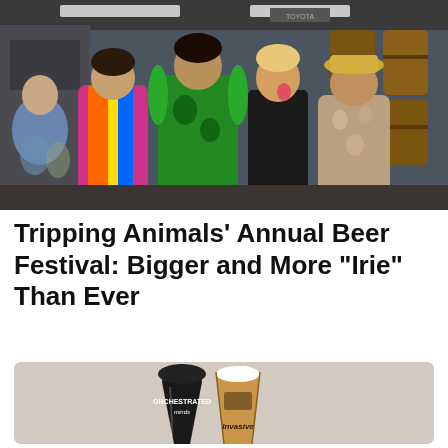[Figure (photo): Four people posing together at a beer festival inside a brewery. They are wearing colorful tropical shirts and festive attire, smiling and making gestures. Large wooden barrels are visible in the background along with industrial lighting and a TOYOTA sign.]
Tripping Animals' Annual Beer Festival: Bigger and More “Irie” Than Ever
[Figure (photo): Two beer glasses on a light beige background. On the left is a dark/black tulip-shaped glass with 'Orchestrated Minds' branding. On the right is a pint glass with an amber/orange beer and foam on top, branded 'Invasive' with an Oklahoma state shape logo.]